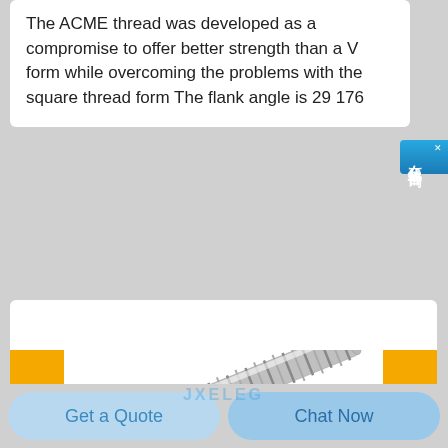The ACME thread was developed as a compromise to offer better strength than a V form while overcoming the problems with the square thread form The flank angle is 29 176
[Figure (photo): Photo of a silver metallic ACME threaded rod/screw with multiple thread turns along its length, shown diagonally against a white background with yellow vertical bars on left and right sides and a watermark reading 'JXELEG']
Get a Quote
Chat Now